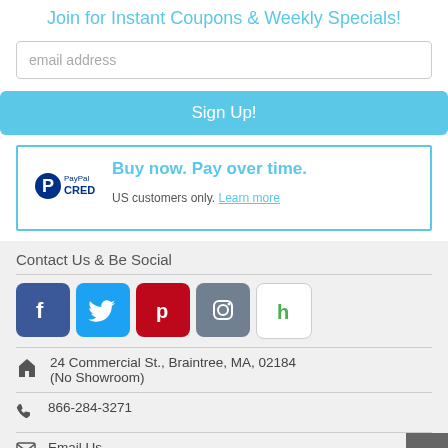Join for Instant Coupons & Weekly Specials!
email address
Sign Up!
[Figure (logo): PayPal Credit logo with PayPal P icon]
Buy now. Pay over time. US customers only. Learn more
Contact Us & Be Social
[Figure (infographic): Social media icons: Facebook, Twitter, Pinterest, Instagram, Houzz]
24 Commercial St., Braintree, MA, 02184 (No Showroom)
866-284-3271
Email Us